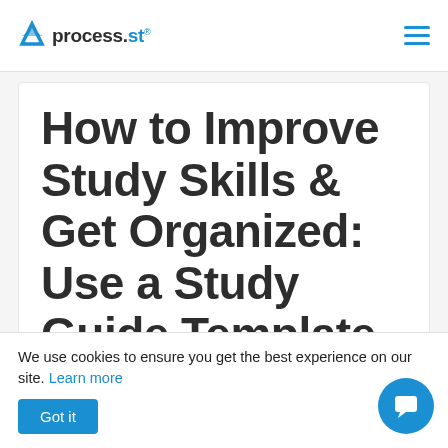process.st
How to Improve Study Skills & Get Organized: Use a Study Guide Template
Oliver Peterson
We use cookies to ensure you get the best experience on our site. Learn more
Got it